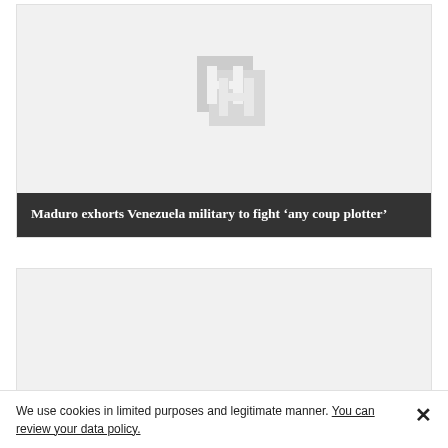[Figure (logo): Grey placeholder logo with stylized overlapping H letters]
Maduro exhorts Venezuela military to fight ‘any coup plotter’
[Figure (photo): Second article card placeholder image, partially visible at bottom]
We use cookies in limited purposes and legitimate manner. You can review your data policy.